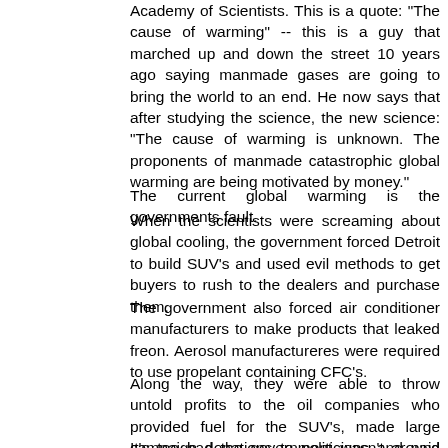Academy of Scientists. This is a quote: "The cause of warming" -- this is a guy that marched up and down the street 10 years ago saying manmade gases are going to bring the world to an end. He now says that after studying the science, the new science: "The cause of warming is unknown. The proponents of manmade catastrophic global warming are being motivated by money."
The current global warming is the governments fault.
When the scientists were screaming about global cooling, the government forced Detroit to build SUV's and used evil methods to get buyers to rush to the dealers and purchase them.
The government also forced air conditioner manufacturers to make products that leaked freon. Aerosol manufactureres were required to use propelant containing CFC's.
Along the way, they were able to throw untold profits to the oil companies who provided fuel for the SUV's, made large campaign donations to politicians and paid sinfull bonuses to their directors.
It's too bad the government wasn't around during all the ice ages. They could have ended them much earlier.